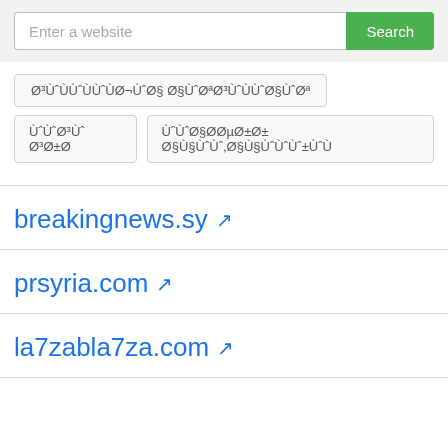Enter a website [Search button]
Ø³ÙˆÙÙˆÙÙˆÙØ¬ÙˆØ§ Ø§ÙˆØªØ³ÙˆÙÙˆØ§ÙˆØª
ÙˆÙˆØ³Ùˆ Ø³Ø±Ø­
ÙˆÙˆØ§ØØµØ±Ø± Ø§Ù§ÙˆÙˆ,Ø§Ù§ÙˆÙˆÙˆ±ÙˆÙ
breakingnews.sy ↗
prsyria.com ↗
la7zabla7za.com ↗